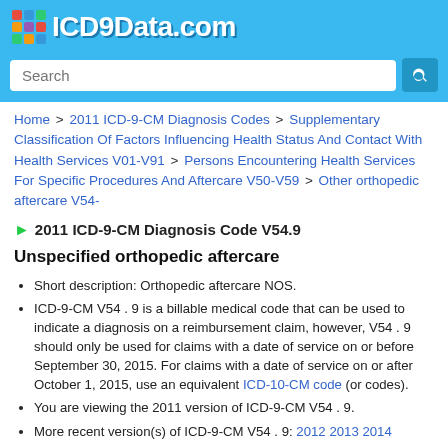ICD9Data.com
Home > 2011 ICD-9-CM Diagnosis Codes > Supplementary Classification Of Factors Influencing Health Status And Contact With Health Services V01-V91 > Persons Encountering Health Services For Specific Procedures And Aftercare V50-V59 > Other orthopedic aftercare V54-
2011 ICD-9-CM Diagnosis Code V54.9
Unspecified orthopedic aftercare
Short description: Orthopedic aftercare NOS.
ICD-9-CM V54.9 is a billable medical code that can be used to indicate a diagnosis on a reimbursement claim, however, V54.9 should only be used for claims with a date of service on or before September 30, 2015. For claims with a date of service on or after October 1, 2015, use an equivalent ICD-10-CM code (or codes).
You are viewing the 2011 version of ICD-9-CM V54.9.
More recent version(s) of ICD-9-CM V54.9: 2012 2013 2014